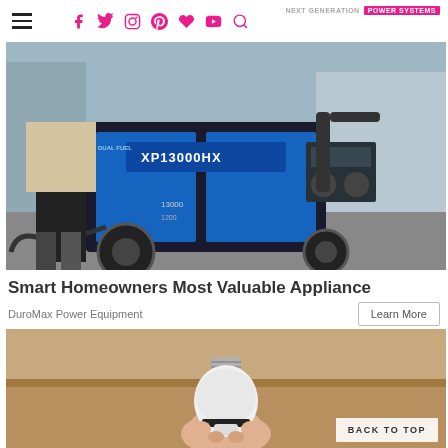NEXT GENERATION POWER SYSTEMS (social icons: Facebook, Twitter, Instagram, Pinterest, Favorite, YouTube, Search)
[Figure (photo): Person operating a DuroMax Dual Fuel XP13000HX portable generator outdoors near a building]
Smart Homeowners Most Valuable Appliance
DuroMax Power Equipment
Learn More
[Figure (photo): Hand holding a smart light bulb against a cardboard/wooden background]
BACK TO TOP